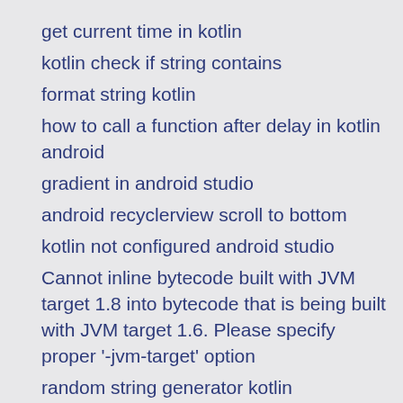get current time in kotlin
kotlin check if string contains
format string kotlin
how to call a function after delay in kotlin android
gradient in android studio
android recyclerview scroll to bottom
kotlin not configured android studio
Cannot inline bytecode built with JVM target 1.8 into bytecode that is being built with JVM target 1.6. Please specify proper '-jvm-target' option
random string generator kotlin
R
r remove na from dataset